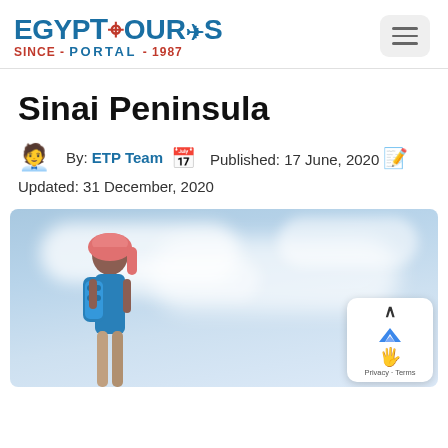[Figure (logo): Egypt Tours Portal logo with ankh symbol, airplane icon, and text 'SINCE-PORTAL-1987']
Sinai Peninsula
By: ETP Team  Published: 17 June, 2020
Updated: 31 December, 2020
[Figure (photo): Person with pink head covering and blue backpack standing against a blue sky with clouds]